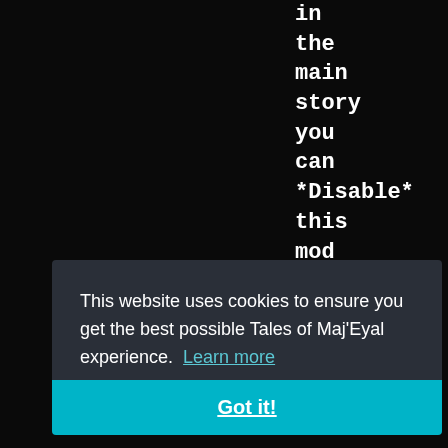in
the
main
story
you
can
*Disable*
this
mod
-
in
game-
("Main
This website uses cookies to ensure you get the best possible Tales of Maj'Eyal experience. Learn more
Got it!